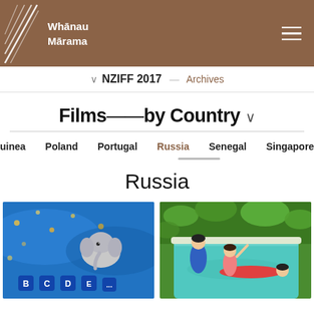Whānau Mārama
∨ NZIFF 2017 — Archives
Films——by Country ∨
uinea   Poland   Portugal   Russia   Senegal   Singapore   Sl
Russia
[Figure (photo): Animated film still showing a blue underwater scene with letter blocks B, C, D, E and a small elephant]
[Figure (photo): Animated film still showing children and an adult in a swimming pool surrounded by green foliage]